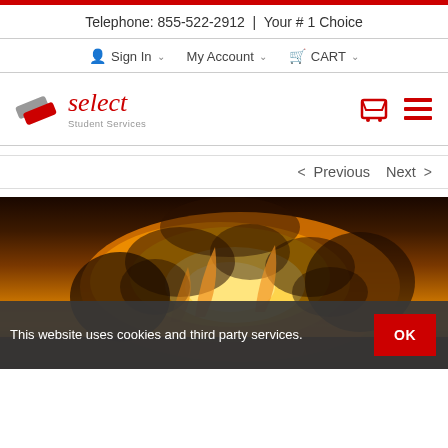Telephone: 855-522-2912 | Your # 1 Choice
Sign In  My Account  CART
[Figure (logo): Select Student Services logo with two overlapping pencil/eraser shapes in grey and red, with 'select' in red italic and 'Student Services' in grey below]
< Previous   Next >
[Figure (photo): A fireball explosion with orange, yellow and black flames against a dark background]
This website uses cookies and third party services.